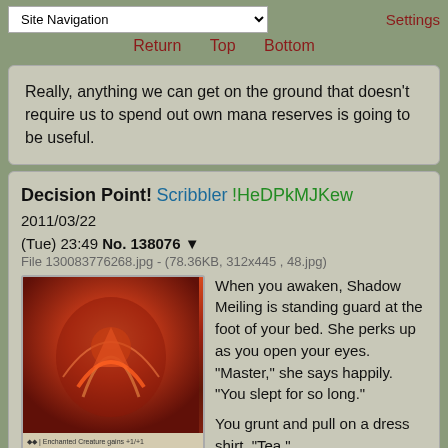Site Navigation | Settings
Return  Top  Bottom
Really, anything we can get on the ground that doesn't require us to spend out own mana reserves is going to be useful.
Decision Point! Scribbler !HeDPkMJKew 2011/03/22 (Tue) 23:49 No. 138076
File 130083776268.jpg - (78.36KB, 312x445, 48.jpg)
[Figure (illustration): A Magic: The Gathering card with red fantasy artwork showing a creature with fire/battle imagery]
When you awaken, Shadow Meiling is standing guard at the foot of your bed. She perks up as you open your eyes. "Master," she says happily. "You slept for so long."

You grunt and pull on a dress shirt. "Tea."

"My apologies Master, I investigated the matter in